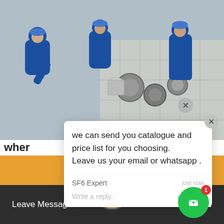[Figure (photo): Workers in blue overalls kneeling on a tiled floor, working on circular metal fittings or manholes]
wher
Apr 13,
an entre in a Lao restaurant. 10,000. 10,000 kip ($1.25 US) is the standard rices can be more in
[Figure (screenshot): Chat popup overlay with message: 'we can send you catalogue and price list for you choosing. Leave us your email or whatsapp .' From SF6 Expert, just now. With reply input and like/attachment icons.]
Get Price
Leave Message
Chat Online